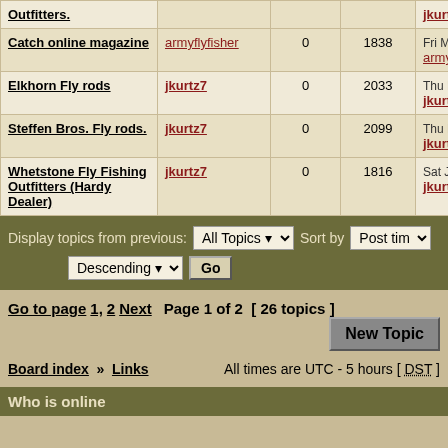| Topic | Author | Replies | Views | Last post |
| --- | --- | --- | --- | --- |
| Outfitters. | jkurtz7 |  |  | jkurtz7 |
| Catch online magazine | armyflyfisher | 0 | 1838 | Fri May 01, 200... armyflyfisher |
| Elkhorn Fly rods | jkurtz7 | 0 | 2033 | Thu Mar 05, 20... jkurtz7 |
| Steffen Bros. Fly rods. | jkurtz7 | 0 | 2099 | Thu Feb 26, 20... jkurtz7 |
| Whetstone Fly Fishing Outfitters (Hardy Dealer) | jkurtz7 | 0 | 1816 | Sat Jan 10, 200... jkurtz7 |
Display topics from previous: All Topics  Sort by  Post time  Descending  Go
Go to page 1, 2  Next  Page 1 of 2  [ 26 topics ]  New Topic
Board index » Links  All times are UTC - 5 hours [ DST ]
Who is online